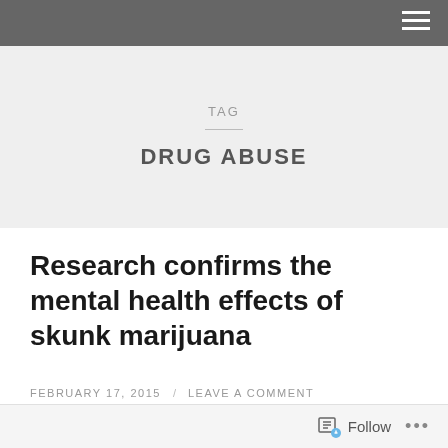TAG
DRUG ABUSE
Research confirms the mental health effects of skunk marijuana
FEBRUARY 17, 2015 / LEAVE A COMMENT
A long-term study,(six years)which is due to be published in the Lancet psychiatry confirms that long-term use...